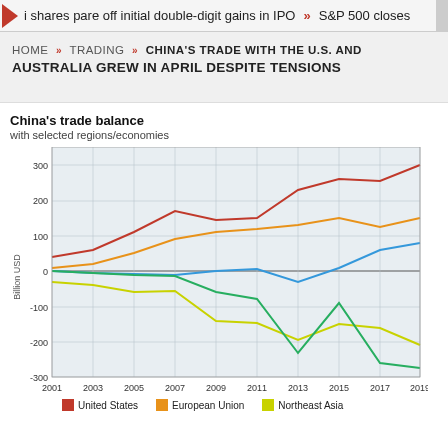i shares pare off initial double-digit gains in IPO  »  S&P 500 closes
HOME » TRADING » CHINA'S TRADE WITH THE U.S. AND AUSTRALIA GREW IN APRIL DESPITE TENSIONS
[Figure (line-chart): China's trade balance with selected regions/economies]
United States   European Union   Northeast Asia